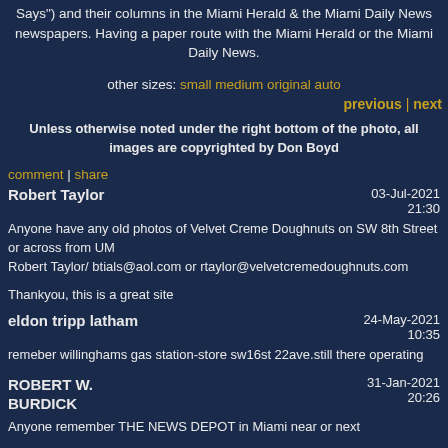Says") and their columns in the Miami Herald & the Miami Daily News newspapers. Having a paper route with the Miami Herald or the Miami Daily News.
other sizes: small medium original auto
previous | next
Unless otherwise noted under the right bottom of the photo, all images are copyrighted by Don Boyd
comment | share
Robert Taylor
03-Jul-2021 21:30
Anyone have any old photos of Velvet Creme Doughnuts on SW 8th Street or across from UM Robert Taylor/ btials@aol.com or rtaylor@velvetcremedoughnuts.com

Thankyou, this is a great site
eldon tripp latham
24-May-2021 10:35
remeber willinghams gas station-store sw16st 22ave.still there operating
ROBERT W. BURDICK
31-Jan-2021 20:26
Anyone remember THE NEWS DEPOT in Miami near or next